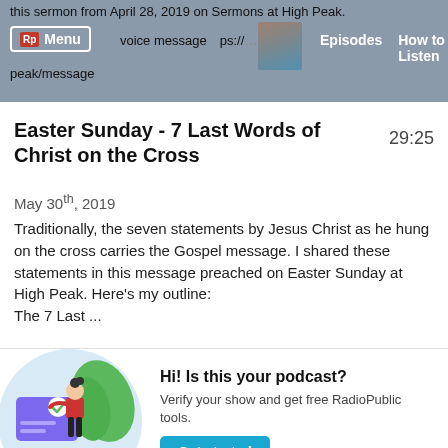this sermon from April 28, 2019 on Sermons at High Peak. — nd the voice message https://…./sermons-at-high-peak/message
Easter Sunday - 7 Last Words of Christ on the Cross
29:25
May 30th, 2019
Traditionally, the seven statements by Jesus Christ as he hung on the cross carries the Gospel message. I shared these statements in this message preached on Easter Sunday at High Peak. Here's my outline: The 7 Last ...
[Figure (illustration): Illustration of a woman in red top and black pants standing next to a large card with a blue background and checkmark, with green leaves in the background, inside a circular frame.]
Hi! Is this your podcast? Verify your show and get free RadioPublic tools. Get started